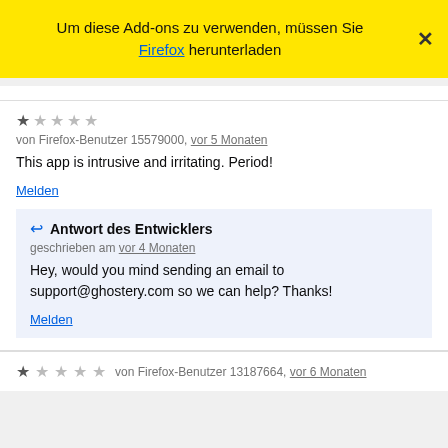Um diese Add-ons zu verwenden, müssen Sie Firefox herunterladen
★☆☆☆☆
von Firefox-Benutzer 15579000, vor 5 Monaten
This app is intrusive and irritating. Period!
Melden
↩ Antwort des Entwicklers
geschrieben am vor 4 Monaten
Hey, would you mind sending an email to support@ghostery.com so we can help? Thanks!
Melden
★☆☆☆☆ von Firefox-Benutzer 13187664, vor 6 Monaten